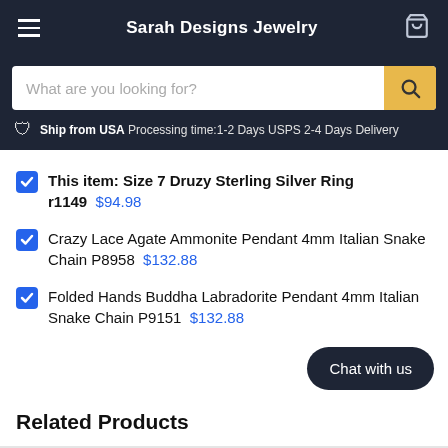Sarah Designs Jewelry
What are you looking for?
Ship from USA Processing time:1-2 Days USPS 2-4 Days Delivery
This item: Size 7 Druzy Sterling Silver Ring r1149  $94.98
Crazy Lace Agate Ammonite Pendant 4mm Italian Snake Chain P8958  $132.88
Folded Hands Buddha Labradorite Pendant 4mm Italian Snake Chain P9151  $132.88
Chat with us
Related Products